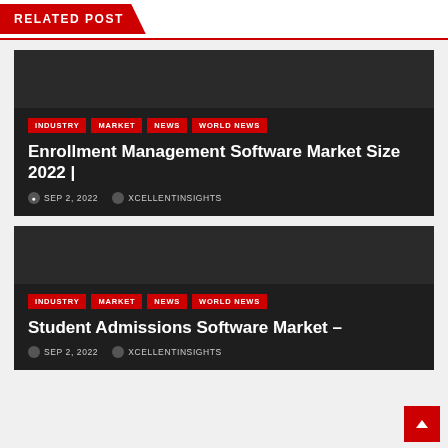RELATED POST
Enrollment Management Software Market Size 2022 |
SEP 2, 2022   XCELLENTINSIGHTS
Student Admissions Software Market –
SEP 2, 2022   XCELLENTINSIGHTS